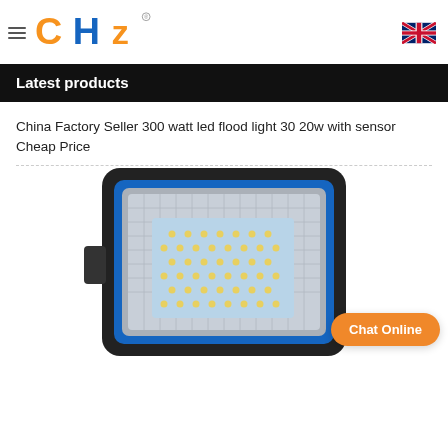CHZ (logo) | hamburger menu | UK flag
Latest products
China Factory Seller 300 watt led flood light 30 20w with sensor Cheap Price
[Figure (photo): Close-up photo of a LED flood light with black housing, blue trim, and array of LED chips on a light-blue panel. Orange 'Chat Online' button overlaid at bottom right.]